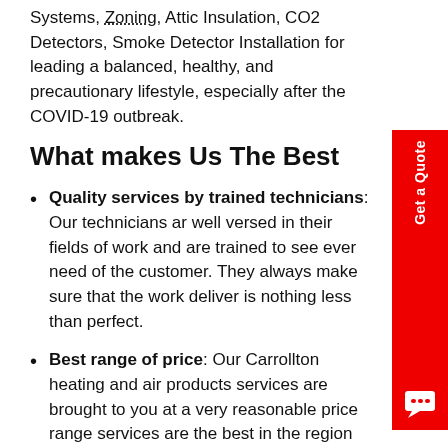Systems, Zoning, Attic Insulation, CO2 Detectors, Smoke Detector Installation for leading a balanced, healthy, and precautionary lifestyle, especially after the COVID-19 outbreak.
What makes Us The Best
Quality services by trained technicians: Our technicians are well versed in their fields of work and are trained to see every need of the customer. They always make sure that the work they deliver is nothing less than perfect.
Best range of price: Our Carrollton heating and air products and services are brought to you at a very reasonable price range. Our services are the best in the region at the best price, you will never regret investing your time and money with us.
Satisfaction of customers is our priority: We leave no stones unturned in achieving optimum customer satisfaction. We work hard to provide amazing heating and air services at your